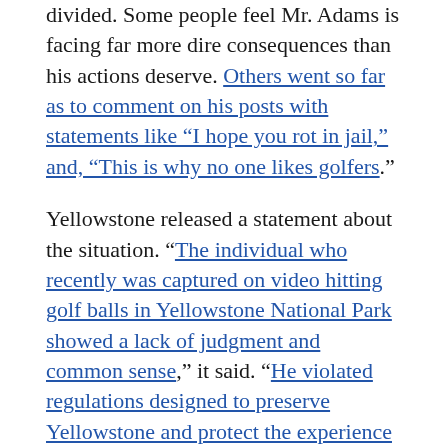divided. Some people feel Mr. Adams is facing far more dire consequences than his actions deserve. Others went so far as to comment on his posts with statements like "I hope you rot in jail," and, "This is why no one likes golfers."
Yellowstone released a statement about the situation. "The individual who recently was captured on video hitting golf balls in Yellowstone National Park showed a lack of judgment and common sense," it said. "He violated regulations designed to preserve Yellowstone and protect the experience of other visitors. The National Park Service is investigating this illegal act."
The fact is, three golf balls don't make a difference to the park. However, copycats and people behaving similarly do add up. We can see both sides of the argument. Although we think those